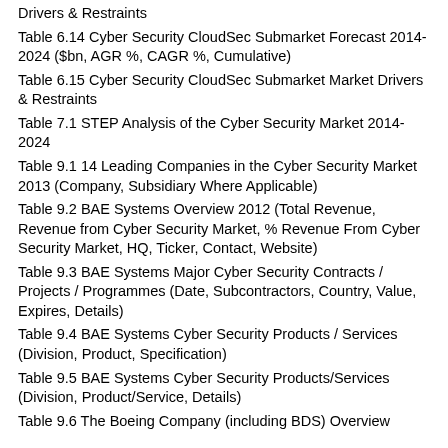Drivers & Restraints
Table 6.14 Cyber Security CloudSec Submarket Forecast 2014-2024 ($bn, AGR %, CAGR %, Cumulative)
Table 6.15 Cyber Security CloudSec Submarket Market Drivers & Restraints
Table 7.1 STEP Analysis of the Cyber Security Market 2014-2024
Table 9.1 14 Leading Companies in the Cyber Security Market 2013 (Company, Subsidiary Where Applicable)
Table 9.2 BAE Systems Overview 2012 (Total Revenue, Revenue from Cyber Security Market, % Revenue From Cyber Security Market, HQ, Ticker, Contact, Website)
Table 9.3 BAE Systems Major Cyber Security Contracts / Projects / Programmes (Date, Subcontractors, Country, Value, Expires, Details)
Table 9.4 BAE Systems Cyber Security Products / Services (Division, Product, Specification)
Table 9.5 BAE Systems Cyber Security Products/Services (Division, Product/Service, Details)
Table 9.6 The Boeing Company (including BDS) Overview